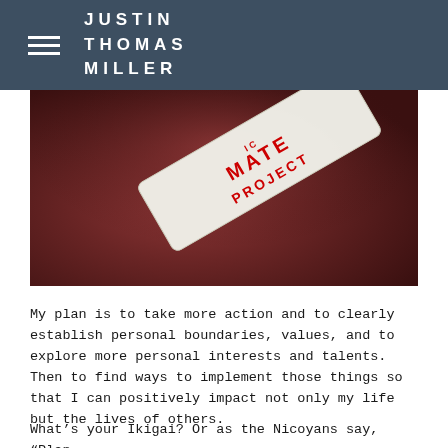JUSTIN THOMAS MILLER
[Figure (photo): Close-up photo of a wristband/bracelet on skin reading 'IMATE PROJECT' (Ultimate Project) in red text on a white wristband, with reddish-purple toned skin background.]
My plan is to take more action and to clearly establish personal boundaries, values, and to explore more personal interests and talents. Then to find ways to implement those things so that I can positively impact not only my life but the lives of others.
What's your Ikigai? Or as the Nicoyans say, “Plan